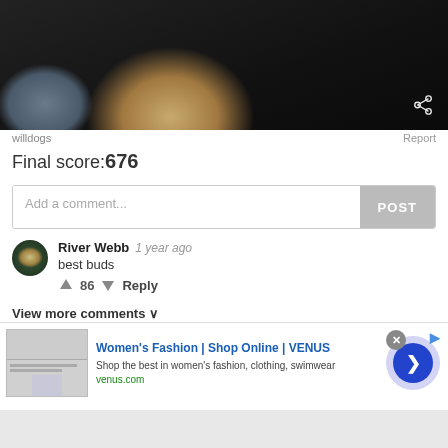[Figure (photo): Close-up photo of a dog or animal with tan/brown fur against a dark background. Share icon visible at bottom right.]
willdogs
Report
Final score:676
Add a comment...
POST
River Webb  1 year ago
best buds
▲ 86 ▼ Reply
View more comments ∨
[Figure (screenshot): Advertisement banner for Women's Fashion | Shop Online | VENUS. Shows thumbnail of fashion website, ad title in blue, description text, venus.com URL in green, and a blue circular CTA button with chevron.]